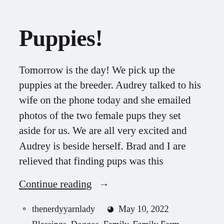Puppies!
Tomorrow is the day! We pick up the puppies at the breeder. Audrey talked to his wife on the phone today and she emailed photos of the two female pups they set aside for us. We are all very excited and Audrey is beside herself. Brad and I are relieved that finding pups was this
Continue reading  →
thenerdyyarnlady  May 10, 2022  Blessings, Doggos, Family, Family Farm, German Shepherd Dogs, Grandchildren, Puppies